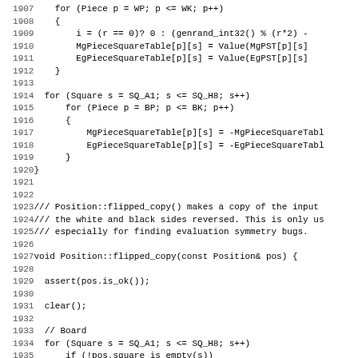[Figure (screenshot): Source code listing in monospace font showing C++ code for chess engine, lines 1907-1939, including piece square table initialization and Position::flipped_copy() function]